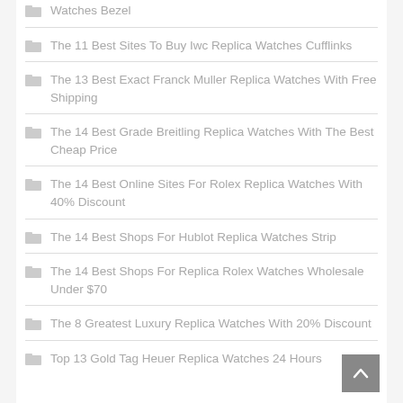Watches Bezel
The 11 Best Sites To Buy Iwc Replica Watches Cufflinks
The 13 Best Exact Franck Muller Replica Watches With Free Shipping
The 14 Best Grade Breitling Replica Watches With The Best Cheap Price
The 14 Best Online Sites For Rolex Replica Watches With 40% Discount
The 14 Best Shops For Hublot Replica Watches Strip
The 14 Best Shops For Replica Rolex Watches Wholesale Under $70
The 8 Greatest Luxury Replica Watches With 20% Discount
Top 13 Gold Tag Heuer Replica Watches 24 Hours